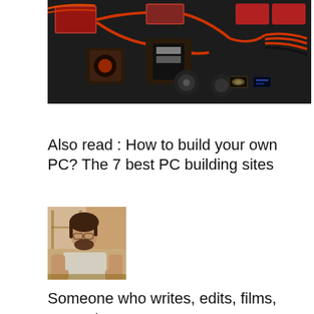[Figure (photo): A dark panel/board with orange/red electronic components, wiring harnesses, circuit boards, connectors, and small illuminated display elements mounted on a black surface.]
Also read : How to build your own PC? The 7 best PC building sites
[Figure (photo): A young bearded man sitting indoors, wearing a light-colored t-shirt, working at what appears to be a workshop or desk environment.]
Someone who writes, edits, films, presents